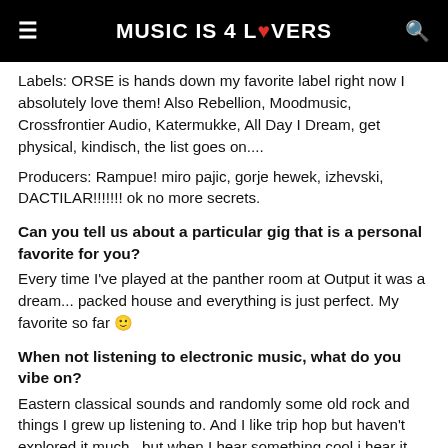MUSIC IS 4 LOVERS
Labels: ORSE is hands down my favorite label right now I absolutely love them! Also Rebellion, Moodmusic, Crossfrontier Audio, Katermukke, All Day I Dream, get physical, kindisch, the list goes on....
Producers: Rampue! miro pajic, gorje hewek, izhevski, DACTILAR!!!!!!! ok no more secrets.
Can you tell us about a particular gig that is a personal favorite for you?
Every time I've played at the panther room at Output it was a dream... packed house and everything is just perfect. My favorite so far 🙂
When not listening to electronic music, what do you vibe on?
Eastern classical sounds and randomly some old rock and things I grew up listening to. And I like trip hop but haven't explored it much...but when I hear something cool i hear it repeatedly.
Any advice for aspiring DJs trying to break into to scene?